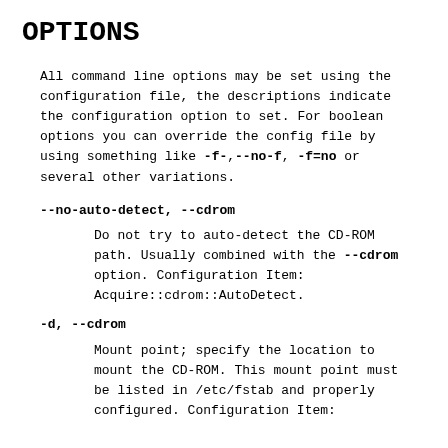OPTIONS
All command line options may be set using the configuration file, the descriptions indicate the configuration option to set. For boolean options you can override the config file by using something like -f-,--no-f, -f=no or several other variations.
--no-auto-detect, --cdrom
Do not try to auto-detect the CD-ROM path. Usually combined with the --cdrom option. Configuration Item: Acquire::cdrom::AutoDetect.
-d, --cdrom
Mount point; specify the location to mount the CD-ROM. This mount point must be listed in /etc/fstab and properly configured. Configuration Item: